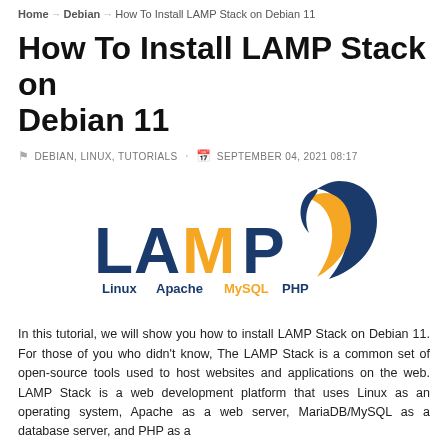Home → Debian → How To Install LAMP Stack on Debian 11
How To Install LAMP Stack on Debian 11
DEBIAN, LINUX, TUTORIALS · SEPTEMBER 04, 2021 08:17
[Figure (logo): LAMP Stack logo with Linux, Apache, MySQL, PHP labels and flame graphic in orange and navy blue]
In this tutorial, we will show you how to install LAMP Stack on Debian 11. For those of you who didn't know, The LAMP Stack is a common set of open-source tools used to host websites and applications on the web. LAMP Stack is a web development platform that uses Linux as an operating system, Apache as a web server, MariaDB/MySQL as a database server, and PHP as a